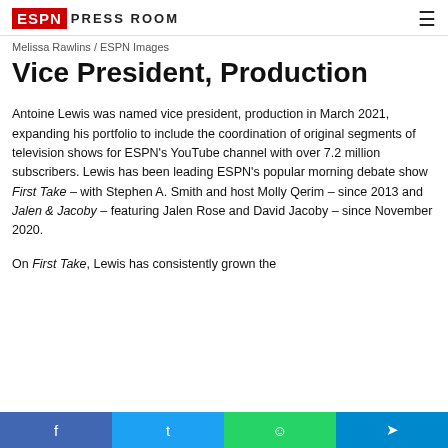ESPN PRESS ROOM
Melissa Rawlins / ESPN Images
Vice President, Production
Antoine Lewis was named vice president, production in March 2021, expanding his portfolio to include the coordination of original segments of television shows for ESPN's YouTube channel with over 7.2 million subscribers. Lewis has been leading ESPN's popular morning debate show First Take – with Stephen A. Smith and host Molly Qerim – since 2013 and Jalen & Jacoby – featuring Jalen Rose and David Jacoby – since November 2020.
On First Take, Lewis has consistently grown the